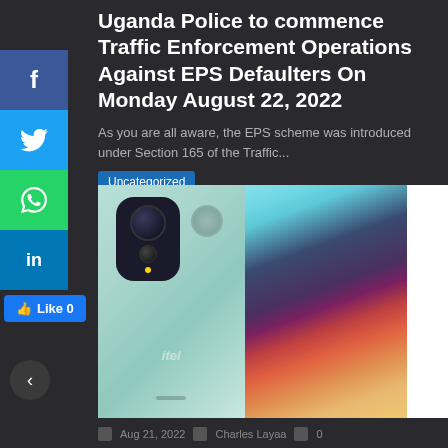Uganda Police to commence Traffic Enforcement Operations Against EPS Defaulters On Monday August 22, 2022
As you are all aware, the EPS scheme was introduced under Section 165 of the Traffic...
Uncategorized
[Figure (photo): A smartphone shown from back (mint/teal color with triple camera module and fingerprint sensor) on left, and front (showing colorful abstract wallpaper with teal, purple, pink, orange gradient) on right, with a partial white panel on far right.]
Aug 21, 2022   Charles Layaa   0